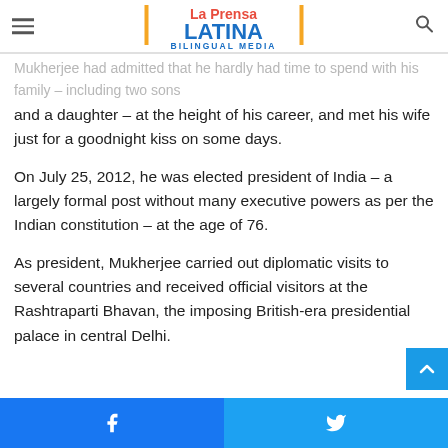La Prensa Latina Bilingual Media
Mukherjee had admitted that he hardly had time to spend with his family – including two sons and a daughter – at the height of his career, and met his wife just for a goodnight kiss on some days.
On July 25, 2012, he was elected president of India – a largely formal post without many executive powers as per the Indian constitution – at the age of 76.
As president, Mukherjee carried out diplomatic visits to several countries and received official visitors at the Rashtraparti Bhavan, the imposing British-era presidential palace in central Delhi.
Facebook Twitter